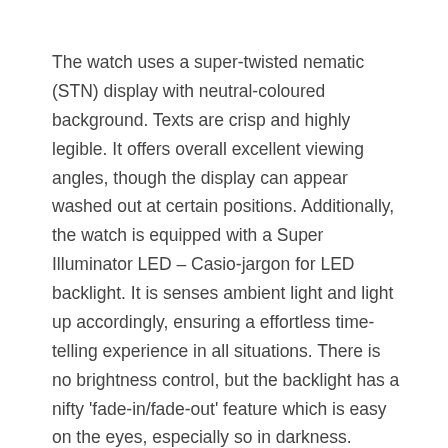The watch uses a super-twisted nematic (STN) display with neutral-coloured background. Texts are crisp and highly legible. It offers overall excellent viewing angles, though the display can appear washed out at certain positions. Additionally, the watch is equipped with a Super Illuminator LED – Casio-jargon for LED backlight. It is senses ambient light and light up accordingly, ensuring a effortless time-telling experience in all situations. There is no brightness control, but the backlight has a nifty 'fade-in/fade-out' feature which is easy on the eyes, especially so in darkness.